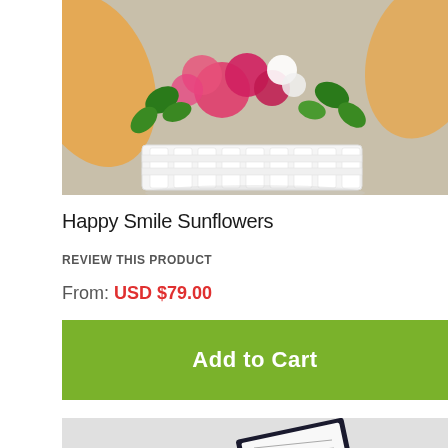[Figure (photo): Flower arrangement in a white picket fence style container with pink roses, greenery/ivy, and orange decorative mesh ribbon, on a white surface.]
Happy Smile Sunflowers
REVIEW THIS PRODUCT
From: USD $79.00
Add to Cart
[Figure (photo): Flower arrangement with yellow flowers and a card/tag that reads GARDESPORT, on a grey background.]